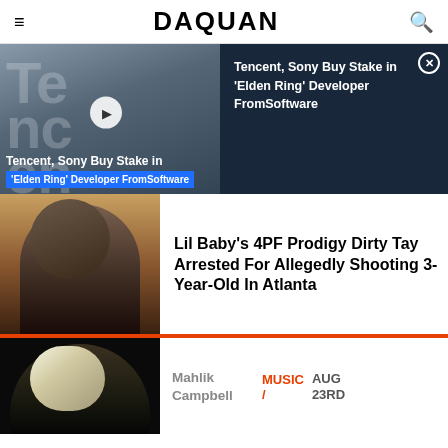DAQUAN
[Figure (screenshot): Featured banner showing Tencent building with play button overlay and article title 'Tencent, Sony Buy Stake in Elden Ring Developer FromSoftware' on dark right panel with close button]
Lil Baby's 4PF Prodigy Dirty Tay Arrested For Allegedly Shooting 3-Year-Old In Atlanta
[Figure (photo): Young male rapper wearing sunglasses and patterned jacket]
Mahlik Campbell
MUSIC /
AUG 23RD
[Figure (photo): Second person with bleached/platinum dreads against dark background]
Don't Let the Heat Hit you! Check out these Amazon bestselling Portable Air Conditioners
Shop Now